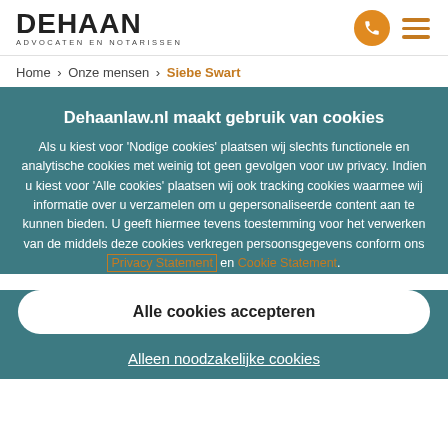DEHAAN ADVOCATEN EN NOTARISSEN
Home > Onze mensen > Siebe Swart
Dehaanlaw.nl maakt gebruik van cookies
Als u kiest voor 'Nodige cookies' plaatsen wij slechts functionele en analytische cookies met weinig tot geen gevolgen voor uw privacy. Indien u kiest voor 'Alle cookies' plaatsen wij ook tracking cookies waarmee wij informatie over u verzamelen om u gepersonaliseerde content aan te kunnen bieden. U geeft hiermee tevens toestemming voor het verwerken van de middels deze cookies verkregen persoonsgegevens conform ons Privacy Statement en Cookie Statement.
Alle cookies accepteren
Alleen noodzakelijke cookies